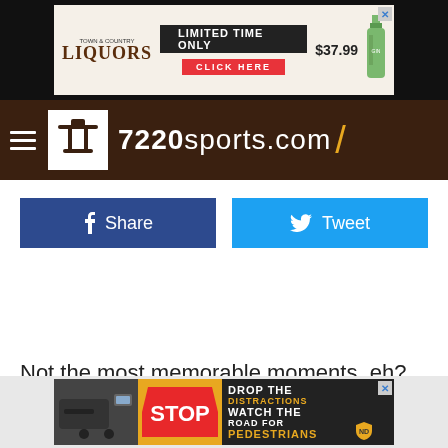[Figure (screenshot): Top advertisement banner for Supermarket Liquors - Limited Time Only, $37.99, Click Here button]
[Figure (logo): 7220sports.com navigation bar with hamburger menu, logo icon, and site name with gold slash]
[Figure (screenshot): Facebook Share button (blue) and Twitter Tweet button (light blue)]
Not the most memorable moments, eh?
[Figure (screenshot): Bottom ad banner: Drop the Distractions Watch the Road for Pedestrians - with car interior and stop sign images]